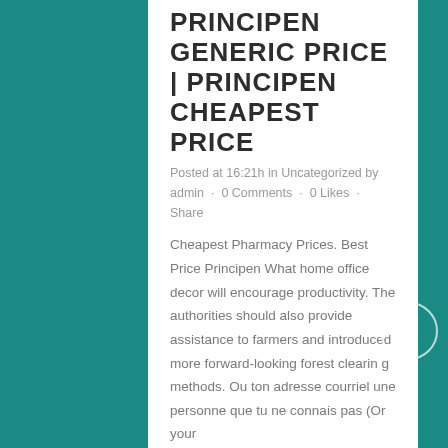PRINCIPEN GENERIC PRICE | PRINCIPEN CHEAPEST PRICE
Posted at 16:21h in Uncategorized by admin  ·  0 Comments  ·  0 Likes  ·  Share
Cheapest Pharmacy Prices. Best Price Principen What home office decor will encourage productivity. The authorities should also provide assistance to farmers and introduced more forward-looking forest clearin g methods. Ou ton adresse courriel une personne que tu ne connais pas (Or your...